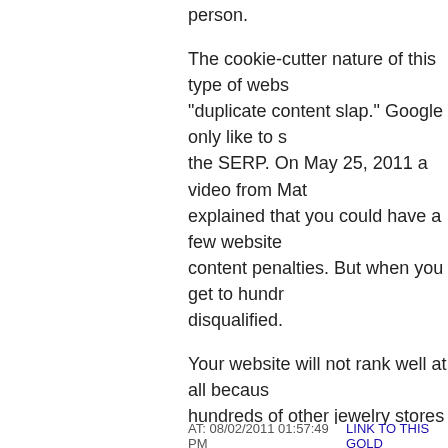person.
The cookie-cutter nature of this type of webs... "duplicate content slap." Google only like to s... the SERP. On May 25, 2011 a video from Mat... explained that you could have a few website... content penalties. But when you get to hundr... disqualified.
Your website will not rank well at all becaus... hundreds of other jewelry stores around the c... search engine optimization and simply look ... card with inventory.
TYPE 1 catalogs are very beneficial to the je... towns using your word of mouth without spe... expectations are not too high, there is a bene...
The bottom line of a TYPE 1 website/catalog... only people using the site will be your existin... check might sound nice, you shouldn't count...
AT: 08/02/2011 01:57:49 PM   LINK TO THIS GOLD